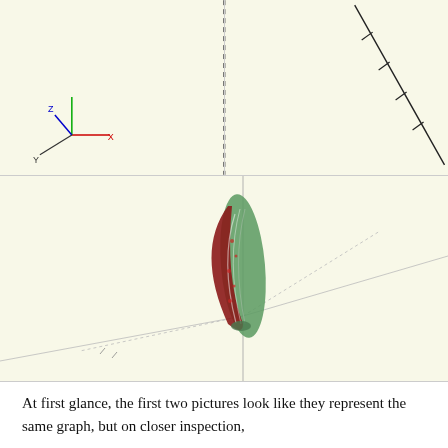[Figure (engineering-diagram): Top-left panel: 2D engineering/graph diagram on pale yellow background showing coordinate axes (X red, Y green, Z blue) with tick marks and lines; dashed vertical line in center; diagonal lines with tick marks on right side.]
[Figure (engineering-diagram): Bottom panel: 3D perspective view on pale yellow background showing a leaf/teardrop-shaped 3D object colored red and green, centered on intersecting perspective axis lines (dotted/solid).]
At first glance, the first two pictures look like they represent the same graph, but on closer inspection,